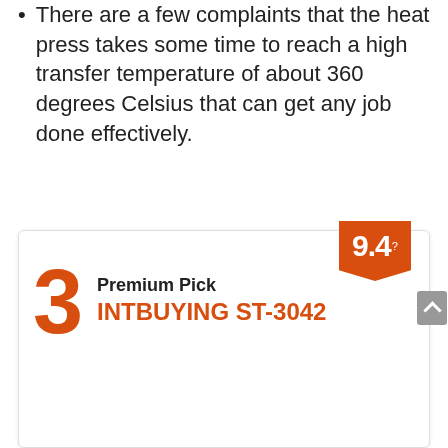There are a few complaints that the heat press takes some time to reach a high transfer temperature of about 360 degrees Celsius that can get any job done effectively.
[Figure (infographic): Product ranking card showing rank #3, labeled 'Premium Pick', product name 'INTBUYING ST-3042', with a score badge of 9.4 in orange banner top right.]